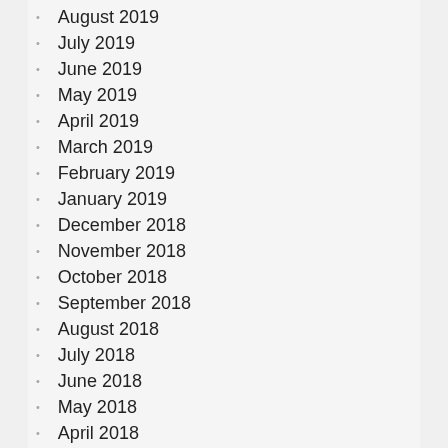August 2019
July 2019
June 2019
May 2019
April 2019
March 2019
February 2019
January 2019
December 2018
November 2018
October 2018
September 2018
August 2018
July 2018
June 2018
May 2018
April 2018
March 2018